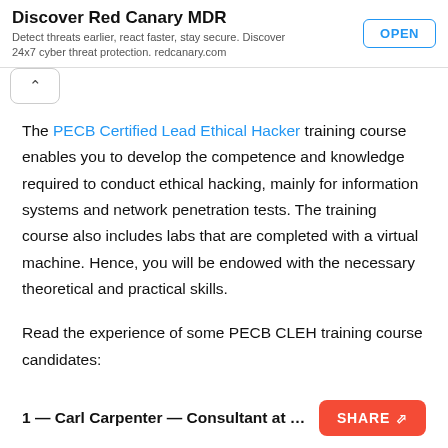Discover Red Canary MDR — Detect threats earlier, react faster, stay secure. Discover 24x7 cyber threat protection. redcanary.com — OPEN
The PECB Certified Lead Ethical Hacker training course enables you to develop the competence and knowledge required to conduct ethical hacking, mainly for information systems and network penetration tests. The training course also includes labs that are completed with a virtual machine. Hence, you will be endowed with the necessary theoretical and practical skills.
Read the experience of some PECB CLEH training course candidates:
1 — Carl Carpenter — Consultant at "Arrakis